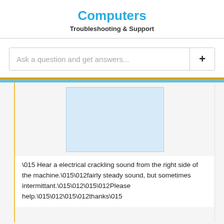Computers
Troubleshooting & Support
Ask a question and get answers...
[Figure (other): Light blue rectangular image placeholder area]
\015 Hear a electrical crackling sound from the right side of the machine.\015\012fairly steady sound, but sometimes intermittant.\015\012\015\012Please help.\015\012\015\012thanks\015